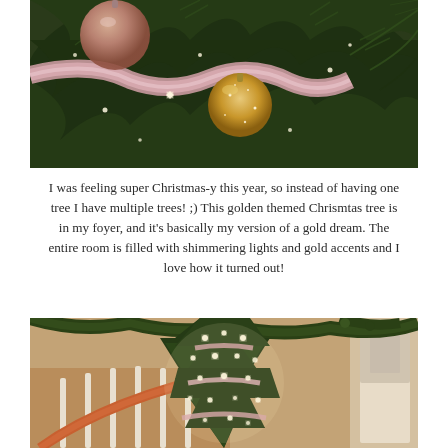[Figure (photo): Close-up photo of a Christmas tree with golden/rose gold glittery ornaments, pink ribbon, and twinkling white lights against dark green pine branches.]
I was feeling super Christmas-y this year, so instead of having one tree I have multiple trees! ;) This golden themed Chrismtas tree is in my foyer, and it's basically my version of a gold dream. The entire room is filled with shimmering lights and gold accents and I love how it turned out!
[Figure (photo): Photo of a Christmas tree with white lights and pink ribbon decorations in a foyer with a staircase decorated with garland, warm ambient lighting.]